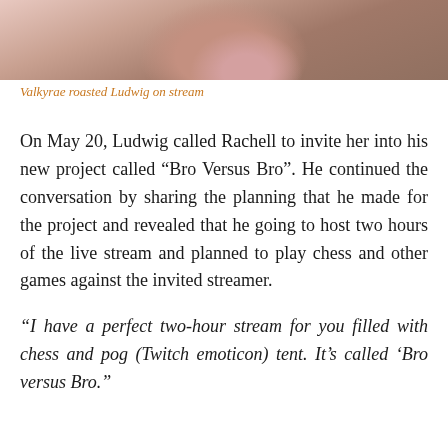[Figure (photo): Partial photo of a person wearing a floral top, cropped to show upper torso/shoulder area with pink/rose floral pattern]
Valkyrae roasted Ludwig on stream
On May 20, Ludwig called Rachell to invite her into his new project called “Bro Versus Bro”. He continued the conversation by sharing the planning that he made for the project and revealed that he going to host two hours of the live stream and planned to play chess and other games against the invited streamer.
“I have a perfect two-hour stream for you filled with chess and pog (Twitch emoticon) tent. It’s called ‘Bro versus Bro.”